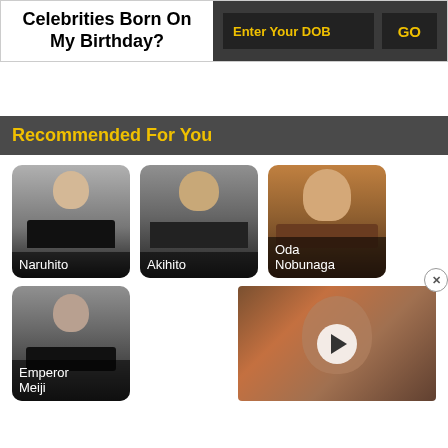Celebrities Born On My Birthday?
Enter Your DOB
GO
Recommended For You
[Figure (photo): Photo card of Naruhito with name label]
[Figure (photo): Photo card of Akihito with name label]
[Figure (photo): Photo card of Oda Nobunaga with name label]
[Figure (photo): Photo card of Emperor Meiji with name label]
[Figure (photo): Video thumbnail with play button]